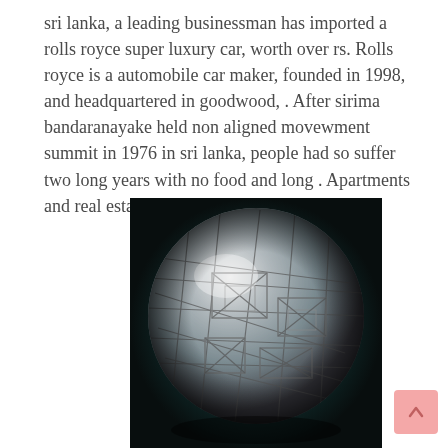sri lanka, a leading businessman has imported a rolls royce super luxury car, worth over rs. Rolls royce is a automobile car maker, founded in 1998, and headquartered in goodwood, . After sirima bandaranayake held non aligned movewment summit in 1976 in sri lanka, people had so suffer two long years with no food and long . Apartments and real estate for sale and to rent in sri lanka.
[Figure (photo): A metallic sphere with etched/engraved geometric patterns (resembling a Widmanstätten pattern meteorite sphere), photographed against a dark teal/black gradient background.]